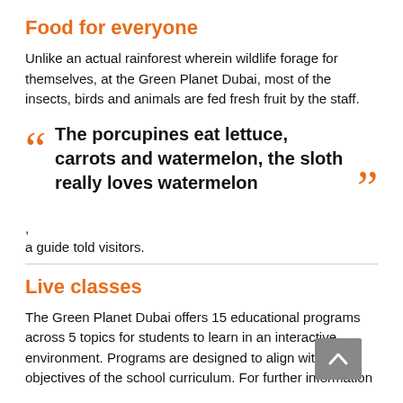Food for everyone
Unlike an actual rainforest wherein wildlife forage for themselves, at the Green Planet Dubai, most of the insects, birds and animals are fed fresh fruit by the staff.
“The porcupines eat lettuce, carrots and watermelon, the sloth really loves watermelon”
,
a guide told visitors.
Live classes
The Green Planet Dubai offers 15 educational programs across 5 topics for students to learn in an interactive environment. Programs are designed to align with objectives of the school curriculum. For further information